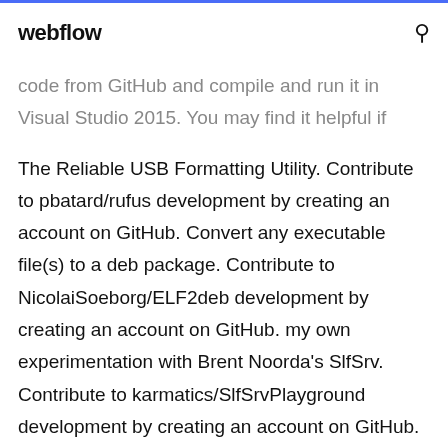webflow
code from GitHub and compile and run it in Visual Studio 2015. You may find it helpful if
The Reliable USB Formatting Utility. Contribute to pbatard/rufus development by creating an account on GitHub. Convert any executable file(s) to a deb package. Contribute to NicolaiSoeborg/ELF2deb development by creating an account on GitHub. my own experimentation with Brent Noorda's SlfSrv. Contribute to karmatics/SlfSrvPlayground development by creating an account on GitHub. Tool for scaffolding batteries-included production-level Haskell projects - kowainik/summoner Contribute to